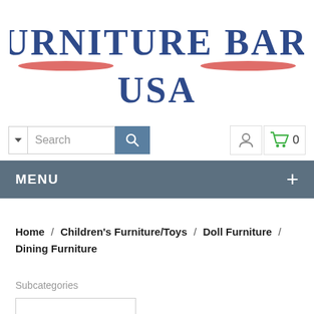[Figure (logo): Furniture Barn USA logo with blue serif bold text on two lines and red swoosh decorative lines]
[Figure (screenshot): Search bar with dropdown arrow, search input field, search button, user icon, and shopping cart icon showing 0 items]
[Figure (screenshot): Navigation menu bar with MENU label and plus sign on dark blue-grey background]
Home / Children's Furniture/Toys / Doll Furniture / Dining Furniture
Subcategories